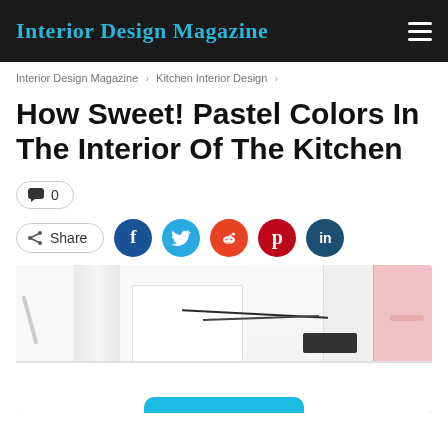Interior Design Magazine
Interior Design Magazine > Kitchen Interior Design >
How Sweet! Pastel Colors In The Interior Of The Kitchen
💬 0
< Share  [Facebook] [Twitter] [Reddit] [Pinterest] [LinkedIn]
[Figure (photo): Kitchen interior with pastel colors, white cabinets and countertops, a pink cabinet on the right side, cables, and a dark device on the counter.]